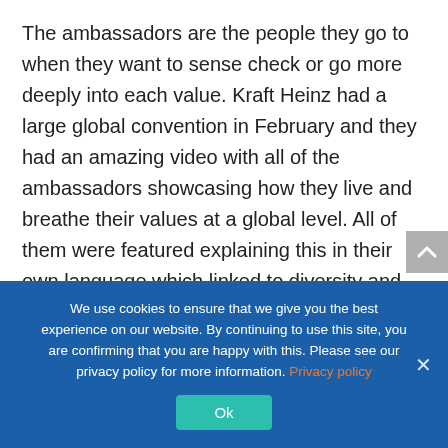The ambassadors are the people they go to when they want to sense check or go more deeply into each value. Kraft Heinz had a large global convention in February and they had an amazing video with all of the ambassadors showcasing how they live and breathe their values at a global level. All of them were featured explaining this in their own language which linked to diversity and inclusion.

Telling stories is now part of what they do especially within internal comms and
We use cookies to ensure that we give you the best experience on our website. By continuing to use this site, you are confirming that you are happy with this. Please see our privacy policy for more information. Privacy policy